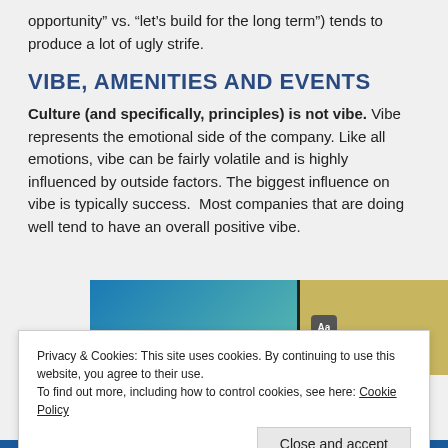opportunity" vs. “let’s build for the long term”) tends to produce a lot of ugly strife.
VIBE, AMENITIES AND EVENTS
Culture (and specifically, principles) is not vibe. Vibe represents the emotional side of the company. Like all emotions, vibe can be fairly volatile and is highly influenced by outside factors. The biggest influence on vibe is typically success.  Most companies that are doing well tend to have an overall positive vibe.
[Figure (screenshot): Screenshot of a website showing 'stories.' text in white italic font on a blue-green gradient background, and a golden/yellow colored image section on the right with a badge icon.]
Privacy & Cookies: This site uses cookies. By continuing to use this website, you agree to their use.
To find out more, including how to control cookies, see here: Cookie Policy
Close and accept